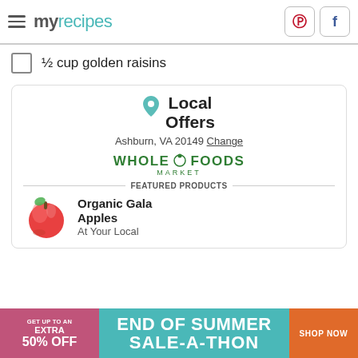myrecipes
½ cup golden raisins
Local Offers
Ashburn, VA 20149 Change
[Figure (logo): Whole Foods Market logo in green]
FEATURED PRODUCTS
Organic Gala Apples
At Your Local
[Figure (infographic): End of Summer Sale-A-Thon advertisement banner with pink left panel (GET UP TO AN EXTRA 50% OFF), teal center (END OF SUMMER SALE-A-THON), and orange right button (SHOP NOW)]